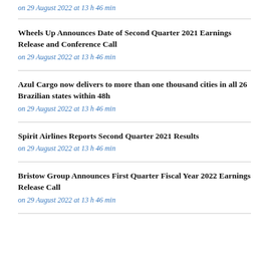on 29 August 2022 at 13 h 46 min
Wheels Up Announces Date of Second Quarter 2021 Earnings Release and Conference Call
on 29 August 2022 at 13 h 46 min
Azul Cargo now delivers to more than one thousand cities in all 26 Brazilian states within 48h
on 29 August 2022 at 13 h 46 min
Spirit Airlines Reports Second Quarter 2021 Results
on 29 August 2022 at 13 h 46 min
Bristow Group Announces First Quarter Fiscal Year 2022 Earnings Release Call
on 29 August 2022 at 13 h 46 min